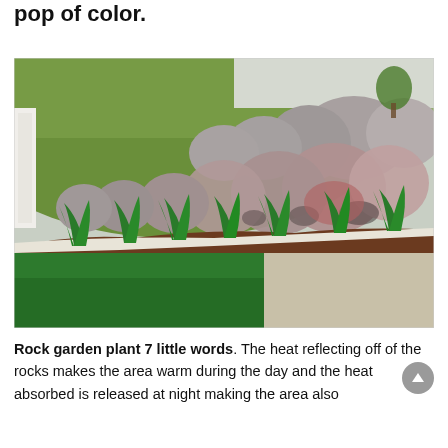pop of color.
[Figure (photo): A rock garden retaining wall made of large boulders with green plants and mulch at the base, bordered by a neat lawn on the left and gravel on the right. A green grassy hillside and a white fence are visible in the background.]
Rock garden plant 7 little words. The heat reflecting off of the rocks makes the area warm during the day and the heat absorbed is released at night making the area also